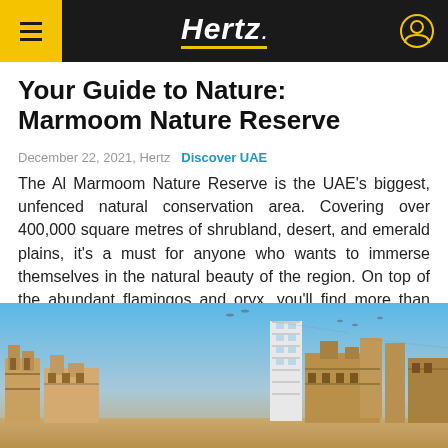Hertz
Your Guide to Nature: Marmoom Nature Reserve
December 22, 2021, Hertz   Discover UAE
The Al Marmoom Nature Reserve is the UAE's biggest, unfenced natural conservation area. Covering over 400,000 square metres of shrubland, desert, and emerald plains, it's a must for anyone who wants to immerse themselves in the natural beauty of the region. On top of the abundant flamingos and oryx, you'll find more than 200 species [...] ...read full post
[Figure (photo): Photograph of historic Middle Eastern architecture/buildings in a desert setting, with traditional wind towers and modern structures under a blue sky]